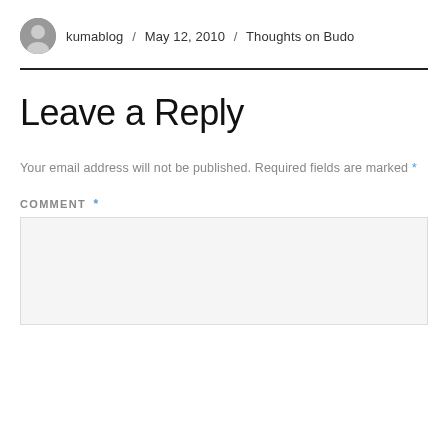kumablog / May 12, 2010 / Thoughts on Budo
Leave a Reply
Your email address will not be published. Required fields are marked *
COMMENT *